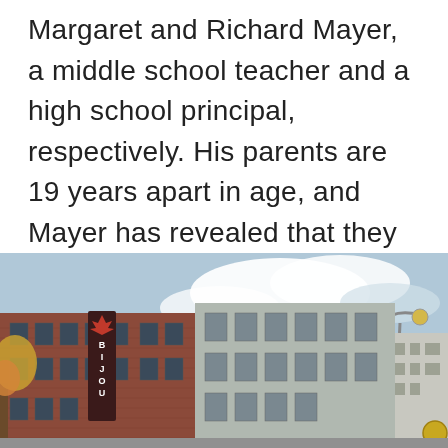Margaret and Richard Mayer, a middle school teacher and a high school principal, respectively. His parents are 19 years apart in age, and Mayer has revealed that they fought a lot at home, forcing him to “disappear and create my own world I could believe in.”
[Figure (photo): Street-level photograph of an urban downtown scene showing brick buildings including one with a vertical 'BIJOU' theater sign, under a partly cloudy sky with autumn trees visible on the left.]